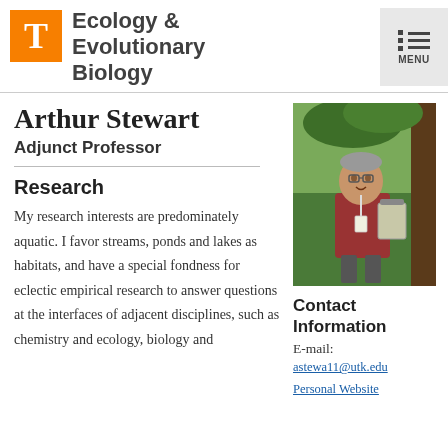Ecology & Evolutionary Biology
Arthur Stewart
Adjunct Professor
[Figure (photo): Portrait photo of Arthur Stewart outdoors, wearing a red shirt, holding a clipboard or folder, standing near a tree]
Research
My research interests are predominately aquatic. I favor streams, ponds and lakes as habitats, and have a special fondness for eclectic empirical research to answer questions at the interfaces of adjacent disciplines, such as chemistry and ecology, biology and
Contact Information
E-mail:
astewa11@utk.edu
Personal Website